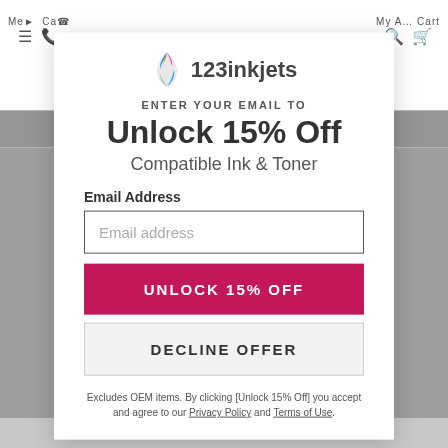Menu  Call
[Figure (logo): 123inkjets logo with colorful leaf/flame icon and bold text '123inkjets']
My Account  Cart
ENTER YOUR EMAIL TO
Unlock 15% Off
Compatible Ink & Toner
Email Address
Email address (placeholder)
UNLOCK 15% OFF
DECLINE OFFER
Excludes OEM items. By clicking [Unlock 15% Off] you accept and agree to our Privacy Policy and Terms of Use.